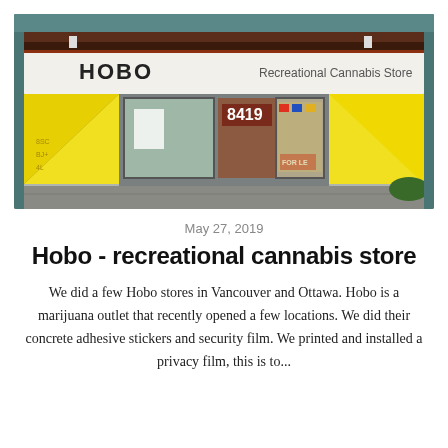[Figure (photo): Exterior photo of a HOBO Recreational Cannabis Store with yellow triangle decorations on the storefront facade, address number 8419 visible, large windows, and a white sign band reading 'HOBO' on the left and 'Recreational Cannabis Store' on the right.]
May 27, 2019
Hobo - recreational cannabis store
We did a few Hobo stores in Vancouver and Ottawa. Hobo is a marijuana outlet that recently opened a few locations. We did their concrete adhesive stickers and security film. We printed and installed a privacy film, this is to...